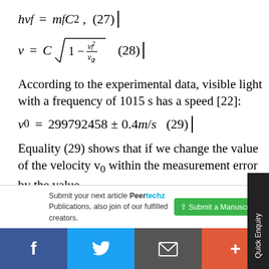According to the experimental data, visible light with a frequency of 1015 s has a speed [22]:
Equality (29) shows that if we change the value of the velocity v0 within the measurement error by the value
Submit your next article Peertechz Publications, also join of our fulfilled creators.
Submit a Manuscript